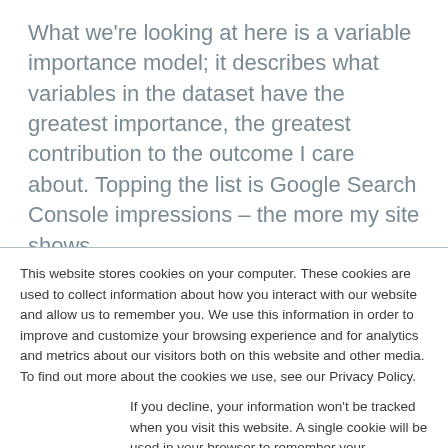What we're looking at here is a variable importance model; it describes what variables in the dataset have the greatest importance, the greatest contribution to the outcome I care about. Topping the list is Google Search Console impressions – the more my site shows
This website stores cookies on your computer. These cookies are used to collect information about how you interact with our website and allow us to remember you. We use this information in order to improve and customize your browsing experience and for analytics and metrics about our visitors both on this website and other media. To find out more about the cookies we use, see our Privacy Policy.
If you decline, your information won't be tracked when you visit this website. A single cookie will be used in your browser to remember your preference not to be tracked.